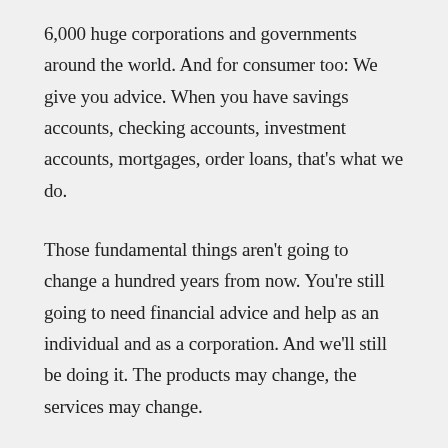6,000 huge corporations and governments around the world. And for consumer too: We give you advice. When you have savings accounts, checking accounts, investment accounts, mortgages, order loans, that's what we do.
Those fundamental things aren't going to change a hundred years from now. You're still going to need financial advice and help as an individual and as a corporation. And we'll still be doing it. The products may change, the services may change.
The oversight: We have a board, which is very strong and very tough, and is doing its own independent review of this whole fiasco we just had. We have